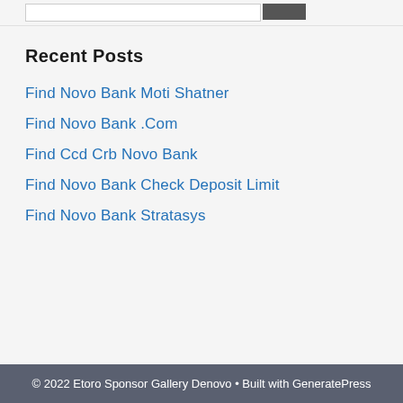Recent Posts
Find Novo Bank Moti Shatner
Find Novo Bank .Com
Find Ccd Crb Novo Bank
Find Novo Bank Check Deposit Limit
Find Novo Bank Stratasys
© 2022 Etoro Sponsor Gallery Denovo • Built with GeneratePress